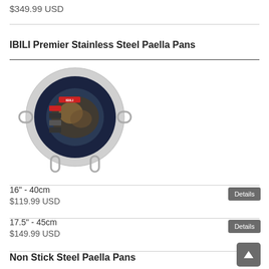$349.99 USD
IBILI Premier Stainless Steel Paella Pans
[Figure (photo): IBILI Premier Stainless Steel Paella Pan product image showing a round stainless steel paella pan with handles on both sides, featuring a dark product label with food imagery in the center]
16" - 40cm
$119.99 USD
17.5" - 45cm
$149.99 USD
Non Stick Steel Paella Pans